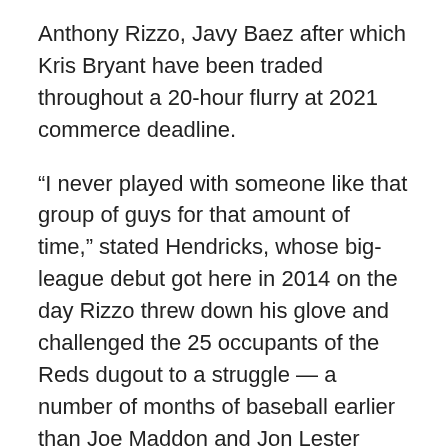Anthony Rizzo, Javy Baez after which Kris Bryant have been traded throughout a 20-hour flurry at 2021 commerce deadline.
“I never played with someone like that group of guys for that amount of time,” stated Hendricks, whose big-league debut got here in 2014 on the day Rizzo threw down his glove and challenged the 25 occupants of the Reds dugout to a struggle — a number of months of baseball earlier than Joe Maddon and Jon Lester signed up for a 2015 season that launched an period for the Cubs.
“That was a very unique situation I think for me and [Jason Heyward] and Willy, the guys that have been here,” Hendricks stated, “just with the group that it was, and how long we’ve